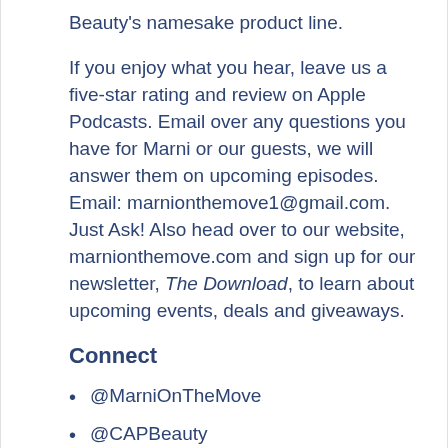Beauty's namesake product line.
If you enjoy what you hear, leave us a five-star rating and review on Apple Podcasts. Email over any questions you have for Marni or our guests, we will answer them on upcoming episodes.  Email: marnionthemove1@gmail.com.  Just Ask! Also head over to our website, marnionthemove.com and sign up for our newsletter, The Download, to learn about upcoming events, deals and giveaways.
Connect
@MarniOnTheMove
@CAPBeauty